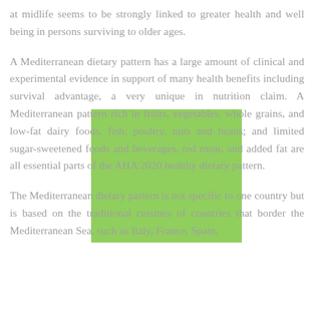at midlife seems to be strongly linked to greater health and well being in persons surviving to older ages.
A Mediterranean dietary pattern has a large amount of clinical and experimental evidence in support of many health benefits including survival advantage, a very unique in nutrition claim. A Mediterranean pattern rich in fruits, vegetables, whole grains, and low-fat dairy foods, fish, poultry, nuts and beans; and limited sugar-sweetened foods and beverages, red meat, and added fat are all essential parts of the AHA 2020 healthy dietary pattern.
The Mediterranean dietary pattern is not specific to one country but is based on the traditional cuisines of countries that border the Mediterranean Sea, such as Italy, France, Spain,